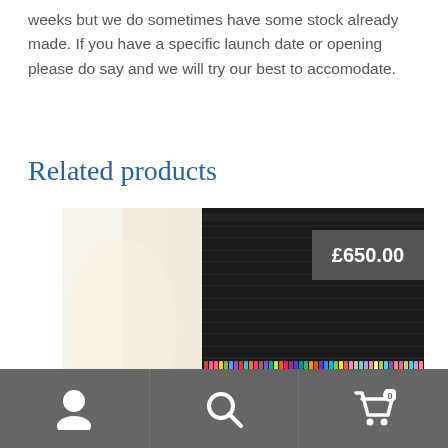weeks but we do sometimes have some stock already made. If you have a specific launch date or opening please do say and we will try our best to accomodate.
Related products
[Figure (photo): Photo of a nail salon interior showing a large dark shelving unit filled with hundreds of nail polish bottles in various colors, with a chair visible in the foreground and a lamp on the left side. A price badge showing £650.00 is overlaid on the top right.]
Navigation bar with user icon, search icon, and shopping cart icon showing 0 items